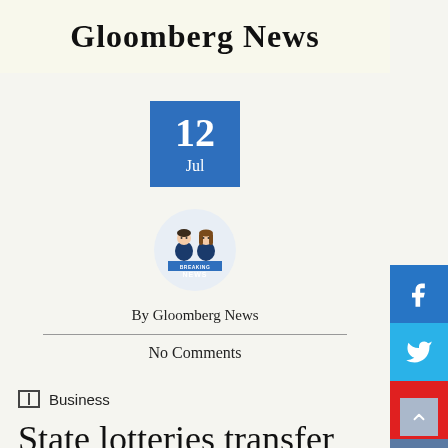Gloomberg News
12 Jul
[Figure (illustration): Breaking News anchor icon — two news anchors at a desk with 'BREAKING NEWS' banner]
By Gloomberg News
No Comments
Business
State lotteries transfer